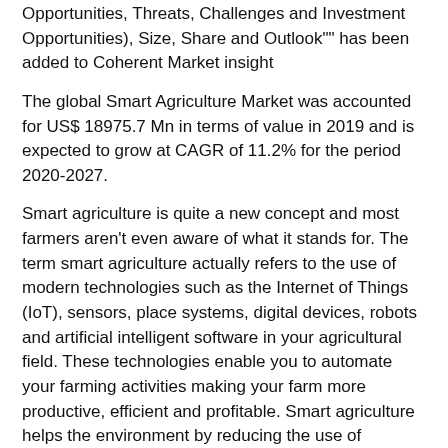Opportunities, Threats, Challenges and Investment Opportunities), Size, Share and Outlook"" has been added to Coherent Market insight
The global Smart Agriculture Market was accounted for US$ 18975.7 Mn in terms of value in 2019 and is expected to grow at CAGR of 11.2% for the period 2020-2027.
Smart agriculture is quite a new concept and most farmers aren't even aware of what it stands for. The term smart agriculture actually refers to the use of modern technologies such as the Internet of Things (IoT), sensors, place systems, digital devices, robots and artificial intelligent software in your agricultural field. These technologies enable you to automate your farming activities making your farm more productive, efficient and profitable. Smart agriculture helps the environment by reducing the use of traditional agricultural chemicals.